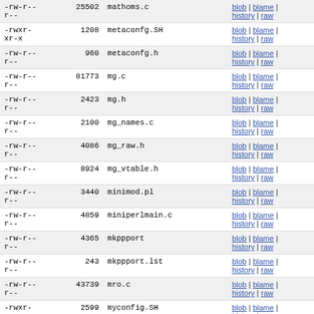| permissions | size | name | links |
| --- | --- | --- | --- |
| -rw-r--r-- | 25502 | mathoms.c | blob | blame | history | raw |
| -rwxr-xr-x | 1208 | metaconfg.SH | blob | blame | history | raw |
| -rw-r--r-- | 960 | metaconfg.h | blob | blame | history | raw |
| -rw-r--r-- | 81773 | mg.c | blob | blame | history | raw |
| -rw-r--r-- | 2423 | mg.h | blob | blame | history | raw |
| -rw-r--r-- | 2100 | mg_names.c | blob | blame | history | raw |
| -rw-r--r-- | 4086 | mg_raw.h | blob | blame | history | raw |
| -rw-r--r-- | 8924 | mg_vtable.h | blob | blame | history | raw |
| -rw-r--r-- | 3440 | minimod.pl | blob | blame | history | raw |
| -rw-r--r-- | 4859 | miniperlmain.c | blob | blame | history | raw |
| -rw-r--r-- | 4365 | mkppport | blob | blame | history | raw |
| -rw-r--r-- | 243 | mkppport.lst | blob | blame | history | raw |
| -rw-r--r-- | 43739 | mro.c | blob | blame | history | raw |
| -rwxr-xr-x | 2599 | myconfig.SH | blob | blame | history | raw |